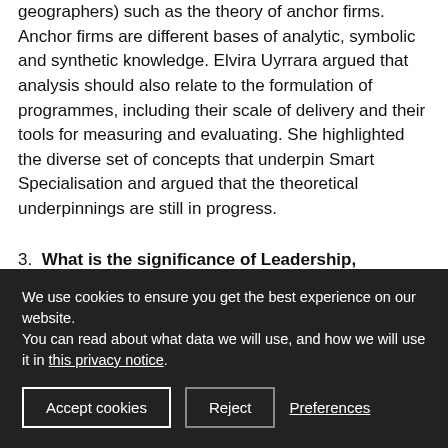geographers) such as the theory of anchor firms. Anchor firms are different bases of analytic, symbolic and synthetic knowledge. Elvira Uyrrara argued that analysis should also relate to the formulation of programmes, including their scale of delivery and their tools for measuring and evaluating. She highlighted the diverse set of concepts that underpin Smart Specialisation and argued that the theoretical underpinnings are still in progress.
3. What is the significance of Leadership, Engagement and Collaboration within and across
We use cookies to ensure you get the best experience on our website.
You can read about what data we will use, and how we will use it in this privacy notice.